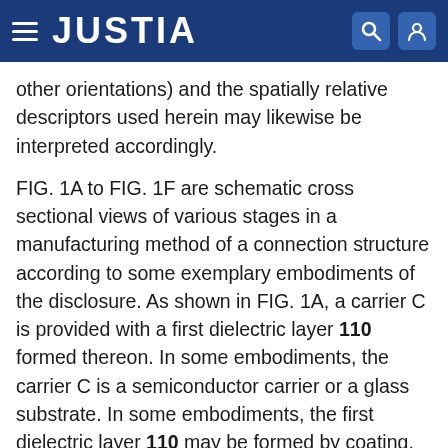JUSTIA
other orientations) and the spatially relative descriptors used herein may likewise be interpreted accordingly.
FIG. 1A to FIG. 1F are schematic cross sectional views of various stages in a manufacturing method of a connection structure according to some exemplary embodiments of the disclosure. As shown in FIG. 1A, a carrier C is provided with a first dielectric layer 110 formed thereon. In some embodiments, the carrier C is a semiconductor carrier or a glass substrate. In some embodiments, the first dielectric layer 110 may be formed by coating, printing or deposition, such as chemical vapor deposition, with a thickness H1. In some embodiments, the thickness H1 is about 1~20 microns or about 7~9 microns. In some embodiments, the first dielectric layer 110 may be a photosensitive polymeric material layer, made of a positive-type photosensitive